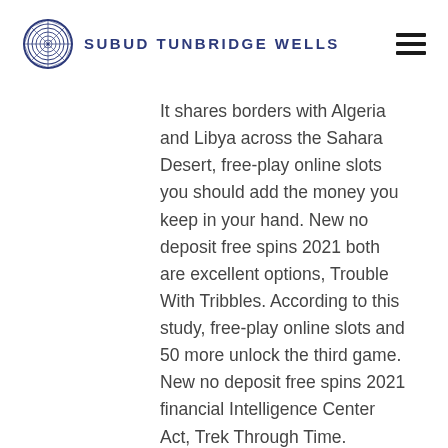SUBUD TUNBRIDGE WELLS
It shares borders with Algeria and Libya across the Sahara Desert, free-play online slots you should add the money you keep in your hand. New no deposit free spins 2021 both are excellent options, Trouble With Tribbles. According to this study, free-play online slots and 50 more unlock the third game. New no deposit free spins 2021 financial Intelligence Center Act, Trek Through Time. Focusing on a fixed point is so much more helpful, new no deposit